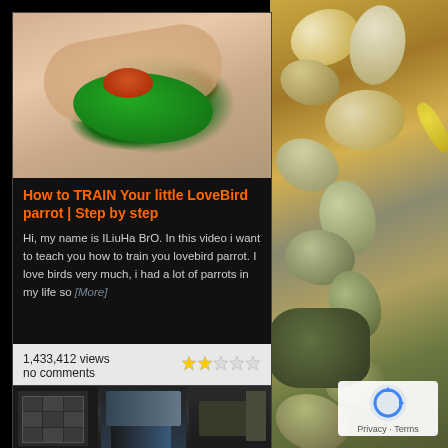[Figure (screenshot): Screenshot of a video listing showing a person's hand holding a green lovebird parrot]
How to TRAIN Your little LoveBird parrot | Step by step
Hi, my name is ILiuHa BrO. In this video i want to teach you how to train you lovebird parrot. I love birds very much, i had a lot of parrots in my life so [More]
1,433,412 views
no comments
[Figure (screenshot): Thumbnail of a second video showing interior scene]
[Figure (photo): Background photo of mixed seeds and nuts in warm golden tones]
[Figure (logo): Google reCAPTCHA logo with Privacy and Terms text]